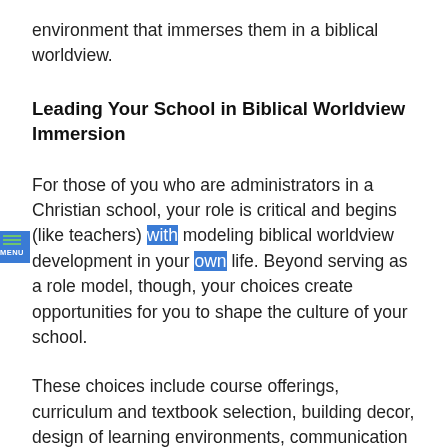environment that immerses them in a biblical worldview.
Leading Your School in Biblical Worldview Immersion
For those of you who are administrators in a Christian school, your role is critical and begins (like teachers) with modeling biblical worldview development in your own life. Beyond serving as a role model, though, your choices create opportunities for you to shape the culture of your school.
These choices include course offerings, curriculum and textbook selection, building decor, design of learning environments, communication with parents, extracurricular activities, teacher expectations, and professional development.